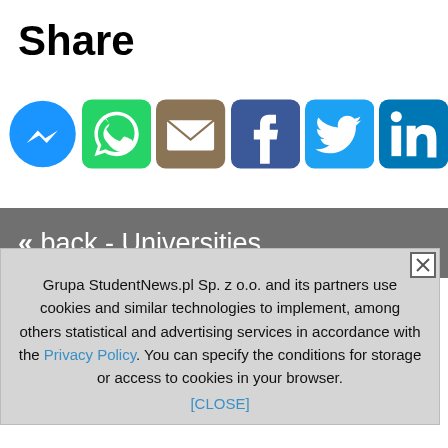Share
[Figure (infographic): Row of social media share icons: Messenger (blue circle), WhatsApp (green rounded square), Email (brown/khaki rounded square), Facebook (dark blue rounded square), Twitter (light blue rounded square), LinkedIn (dark cyan rounded square)]
« back - Universities
Grupa StudentNews.pl Sp. z o.o. and its partners use cookies and similar technologies to implement, among others statistical and advertising services in accordance with the Privacy Policy. You can specify the conditions for storage or access to cookies in your browser. [CLOSE]